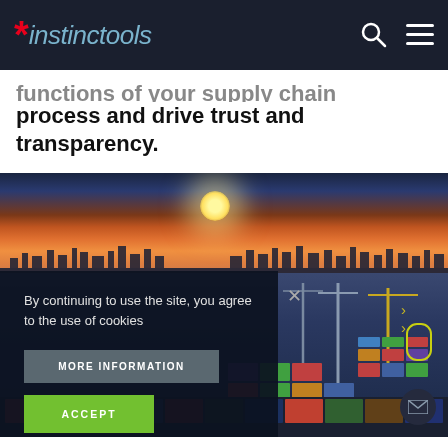[Figure (logo): Instinctools logo with red asterisk and blue-grey italic text on dark navy header bar]
functions of your supply chain management process and drive trust and transparency.
[Figure (photo): Aerial photo of a busy container port at sunset with colorful shipping containers, cranes, and city skyline in background. A dark cookie consent overlay appears on the left portion with 'By continuing to use the site, you agree to the use of cookies' text, MORE INFORMATION and ACCEPT buttons. An envelope/mail icon appears at bottom right.]